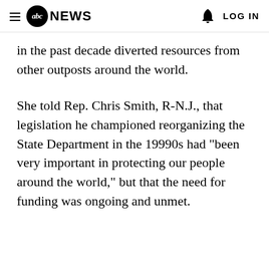abc NEWS  LOG IN
in the past decade diverted resources from other outposts around the world.
She told Rep. Chris Smith, R-N.J., that legislation he championed reorganizing the State Department in the 19990s had "been very important in protecting our people around the world," but that the need for funding was ongoing and unmet.